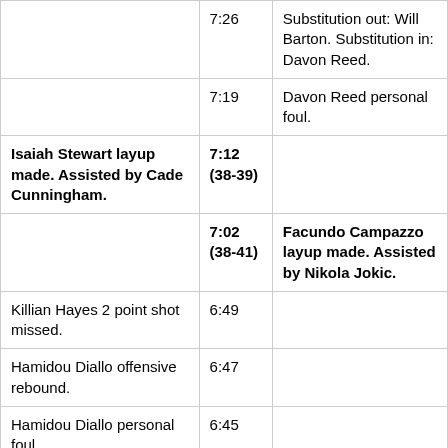|  | 7:26 | Substitution out: Will Barton. Substitution in: Davon Reed. |
|  | 7:19 | Davon Reed personal foul. |
| Isaiah Stewart layup made. Assisted by Cade Cunningham. | 7:12 (38-39) |  |
|  | 7:02 (38-41) | Facundo Campazzo layup made. Assisted by Nikola Jokic. |
| Killian Hayes 2 point shot missed. | 6:49 |  |
| Hamidou Diallo offensive rebound. | 6:47 |  |
| Hamidou Diallo personal foul. | 6:45 |  |
| Hamidou Diallo turnover. | 6:45 |  |